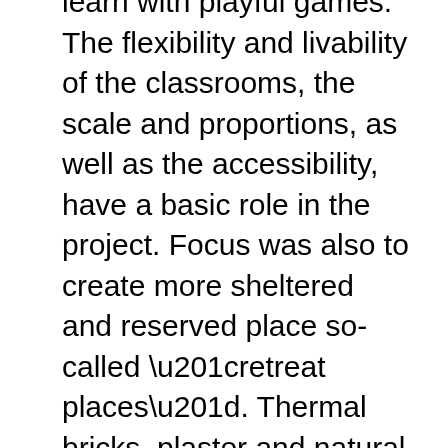learn with playful games. The flexibility and livability of the classrooms, the scale and proportions, as well as the accessibility, have a basic role in the project. Focus was also to create more sheltered and reserved place so-called “retreat places”. Thermal bricks, plaster and natural wood surfaces were the main materials used. The pattern of the facade reflects the playful nature of the children. Moreover, the colorful concept gives the building a playful character. The different heights and distances of the windows focus the surrounding alpine landscape. The wide frames of the windows are thought as part of the architectural concept. They characterize the rooms and they can be used as sitting place or play areas. In order to encourage